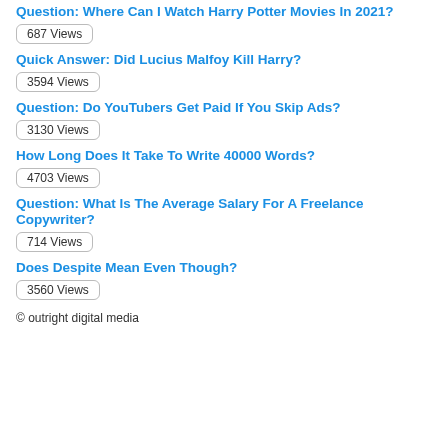Question: Where Can I Watch Harry Potter Movies In 2021?
687 Views
Quick Answer: Did Lucius Malfoy Kill Harry?
3594 Views
Question: Do YouTubers Get Paid If You Skip Ads?
3130 Views
How Long Does It Take To Write 40000 Words?
4703 Views
Question: What Is The Average Salary For A Freelance Copywriter?
714 Views
Does Despite Mean Even Though?
3560 Views
© outright digital media